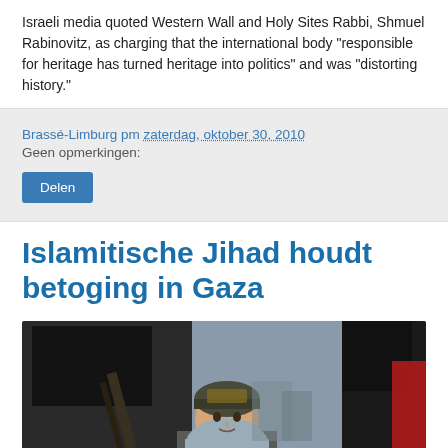Israeli media quoted Western Wall and Holy Sites Rabbi, Shmuel Rabinovitz, as charging that the international body "responsible for heritage has turned heritage into politics" and was "distorting history."
Brassé-Limburg pm zaterdag, oktober 30, 2010
Geen opmerkingen:
Delen
Islamitische Jihad houdt betoging in Gaza
[Figure (photo): A woman wearing a hijab and helmet standing in front of black flags and what appears to be weapons at a demonstration in Gaza]